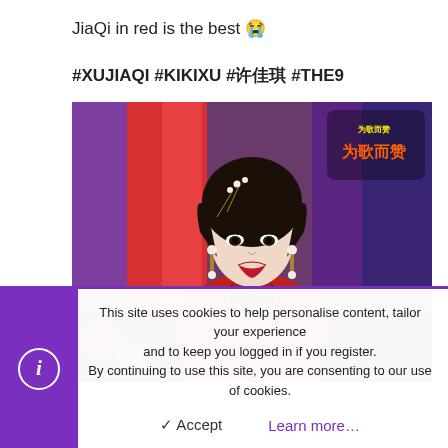JiaQi in red is the best 😭
#XUJIAQI #KIKIXU #许佳琪 #THE9
[Figure (photo): Photo of Xu JiaQi (Kiki Xu) in a red outfit with pearl hair accessories, performing on stage with colorful background lighting. Show logo visible in top right corner.]
This site uses cookies to help personalise content, tailor your experience and to keep you logged in if you register. By continuing to use this site, you are consenting to our use of cookies.
✓ Accept   Learn more…